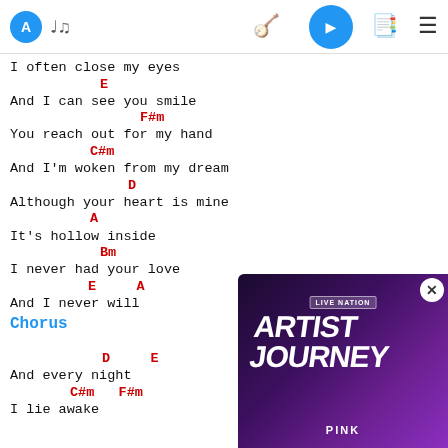Navigation bar with avatar, music icon, capo icon, play button, notebook icon, menu icon
I often close my eyes
E
And I can see you smile
F#m
You reach out for my hand
C#m
And I'm woken from my dream
D
Although your heart is mine
A
It's hollow inside
Bm
I never had your love
E      A
And I never will
Chorus
D      E
And every night
C#m    F#m
I lie awake
[Figure (screenshot): Live Nation Artist Journey featuring Pink - video overlay panel in bottom right corner with close button]